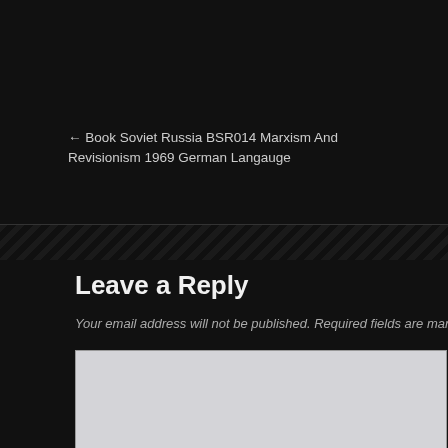← Book Soviet Russia BSR014 Marxism And Revisionism 1969 German Langauge
Leave a Reply
Your email address will not be published. Required fields are mark